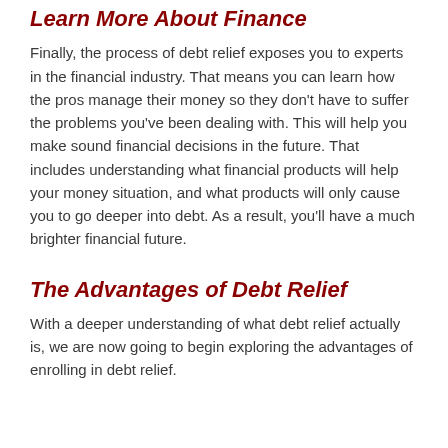Learn More About Finance
Finally, the process of debt relief exposes you to experts in the financial industry. That means you can learn how the pros manage their money so they don't have to suffer the problems you've been dealing with. This will help you make sound financial decisions in the future. That includes understanding what financial products will help your money situation, and what products will only cause you to go deeper into debt. As a result, you'll have a much brighter financial future.
The Advantages of Debt Relief
With a deeper understanding of what debt relief actually is, we are now going to begin exploring the advantages of enrolling in debt relief.